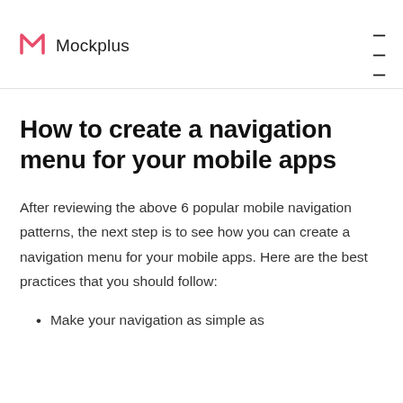Mockplus
How to create a navigation menu for your mobile apps
After reviewing the above 6 popular mobile navigation patterns, the next step is to see how you can create a navigation menu for your mobile apps. Here are the best practices that you should follow:
Make your navigation as simple as